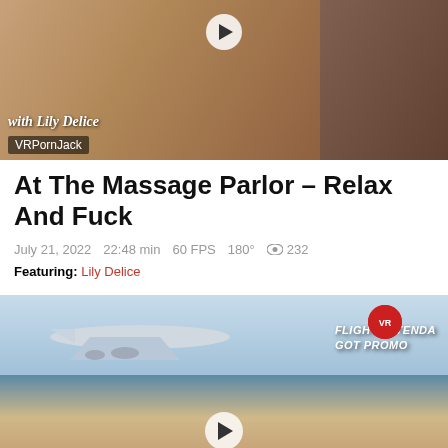[Figure (photo): Thumbnail image for adult VR video 'At The Massage Parlor' with watermark text 'with Lily Delice' and site label 'VRPornJack']
At The Massage Parlor – Relax And Fuck
July 21, 2022   22:48 min   60 FPS   180°   232
Featuring: Lily Delice
[Figure (photo): Thumbnail image for adult VR video about a flight attendant, showing an airplane in the sky with text 'FLIGHT ATTENDANT GOT PROMOTED' and a play button overlay]